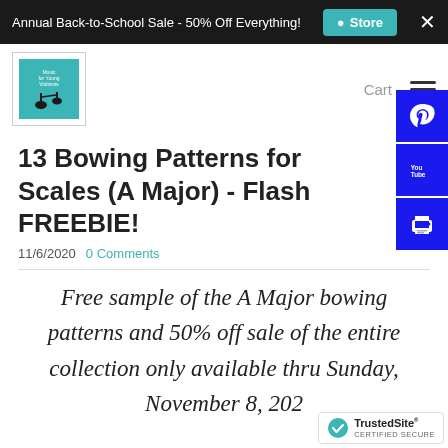Annual Back-to-School Sale - 50% Off Everything!  Store  ×
[Figure (logo): Music for Young Violinists logo - teal square with violin silhouette]
Cart
13 Bowing Patterns for Scales (A Major) - Flash FREEBIE!
11/6/2020   0 Comments
Free sample of the A Major bowing patterns and 50% off sale of the entire collection only available thru Sunday, November 8, 202